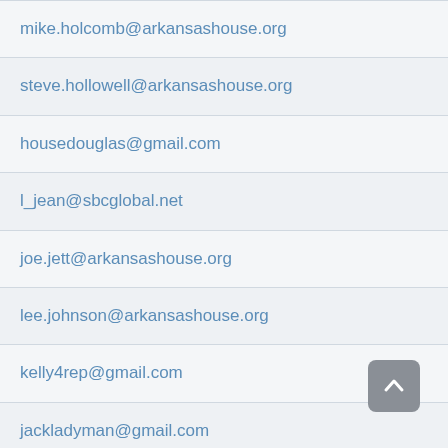| Email |
| --- |
| mike.holcomb@arkansashouse.org |
| steve.hollowell@arkansashouse.org |
| housedouglas@gmail.com |
| l_jean@sbcglobal.net |
| joe.jett@arkansashouse.org |
| lee.johnson@arkansashouse.org |
| kelly4rep@gmail.com |
| jackladyman@gmail.com |
| fjlove@att.net |
|  |